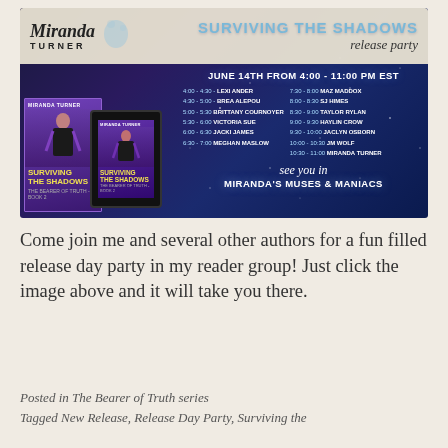[Figure (infographic): Release party banner for 'Surviving the Shadows' by Miranda Turner. Dark blue/purple starry night background. Shows book covers (hardcover and tablet). Title reads 'SURVIVING THE SHADOWS release party'. Date: June 14th from 4:00 - 11:00 PM EST. Schedule of authors listed in two columns. Ends with 'see you in MIRANDA'S MUSES & MANIACS'.]
Come join me and several other authors for a fun filled release day party in my reader group! Just click the image above and it will take you there.
Posted in The Bearer of Truth series
Tagged New Release, Release Day Party, Surviving the